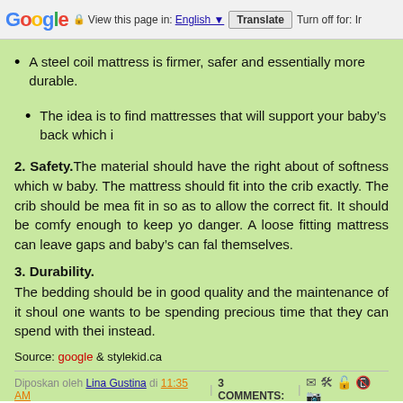Google  View this page in: English  Translate  Turn off for: Ir
A steel coil mattress is firmer, safer and essentially more durable.
The idea is to find mattresses that will support your baby's back which i
2. Safety. The material should have the right about of softness which w baby. The mattress should fit into the crib exactly. The crib should be mea fit in so as to allow the correct fit. It should be comfy enough to keep yo danger. A loose fitting mattress can leave gaps and baby's can fal themselves.
3. Durability.
The bedding should be in good quality and the maintenance of it shoul one wants to be spending precious time that they can spend with thei instead.
Source: google & stylekid.ca
Diposkan oleh Lina Gustina di 11:35 AM  |  3 COMMENTS:  |